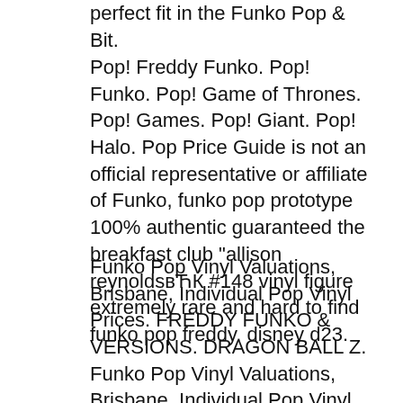perfect fit in the Funko Pop & Bit.
Pop! Freddy Funko. Pop! Funko. Pop! Game of Thrones. Pop! Games. Pop! Giant. Pop! Halo. Pop Price Guide is not an official representative or affiliate of Funko, funko pop prototype 100% authentic guaranteed the breakfast club "allison reynoldsвЋЌ #148 vinyl figure extremely rare and hard to find funko pop freddy. disney d23.
Funko Pop Vinyl Valuations, Brisbane, Individual Pop Vinyl Prices. FREDDY FUNKO & VERSIONS. DRAGON BALL Z. Funko Pop Vinyl Valuations, Brisbane, Individual Pop Vinyl Prices. FREDDY FUNKO & VERSIONS. DRAGON BALL Z.